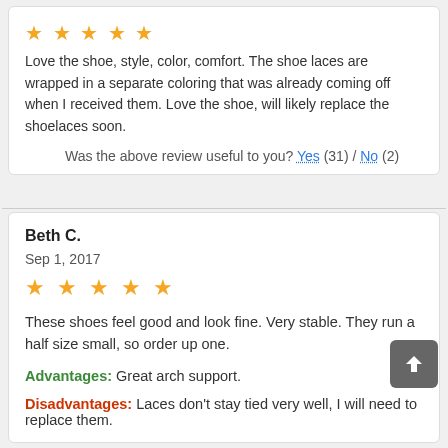Love the shoe, style, color, comfort. The shoe laces are wrapped in a separate coloring that was already coming off when I received them. Love the shoe, will likely replace the shoelaces soon.
Was the above review useful to you? Yes (31) / No (2)
Beth C.
Sep 1, 2017
These shoes feel good and look fine. Very stable. They run a half size small, so order up one.
Advantages: Great arch support.
Disadvantages: Laces don't stay tied very well, I will need to replace them.